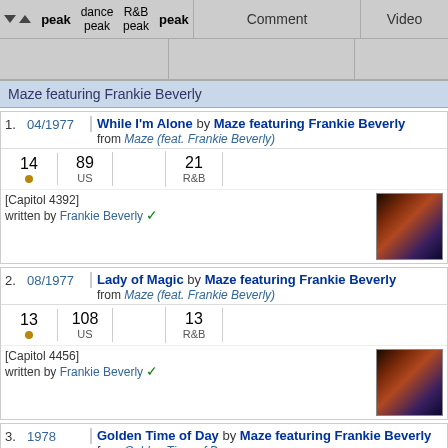| peak | dance peak | R&B peak | peak | Comment | Video |
| --- | --- | --- | --- | --- | --- |
| Maze featuring Frankie Beverly |
| 1. | 04/1977 | While I'm Alone by Maze featuring Frankie Beverly / from Maze (feat. Frankie Beverly) | 14 | 89 US |  | 21 R&B | [Capitol 4392] written by Frankie Beverly | image |
| 2. | 08/1977 | Lady of Magic by Maze featuring Frankie Beverly / from Maze (feat. Frankie Beverly) | 13 | 108 US |  | 13 R&B | [Capitol 4456] written by Frankie Beverly | image |
| 3. | 1978 | Golden Time of Day by Maze featuring Frankie Beverly / from Golden Time of Day | 3 |  |  | 39 R&B |  |  |